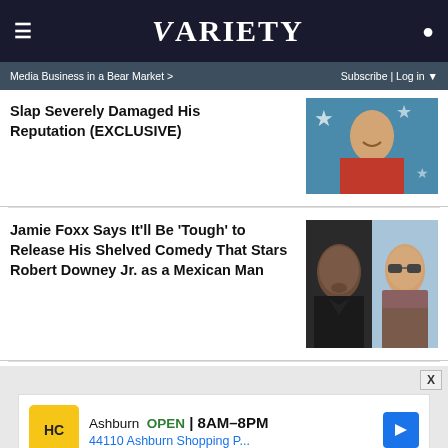≡  VARIETY  👤
Media Business in a Bear Market >  Subscribe | Log in ▼
Slap Severely Damaged His Reputation (EXCLUSIVE)
[Figure (photo): Photo of Will Smith smiling, wearing red jacket, star-patterned background]
Jamie Foxx Says It'll Be 'Tough' to Release His Shelved Comedy That Stars Robert Downey Jr. as a Mexican Man
[Figure (photo): Side-by-side photos of Jamie Foxx and Robert Downey Jr.]
[Figure (other): Advertisement: Ashburn OPEN 8AM-8PM, 44110 Ashburn Shopping P..., HC logo]